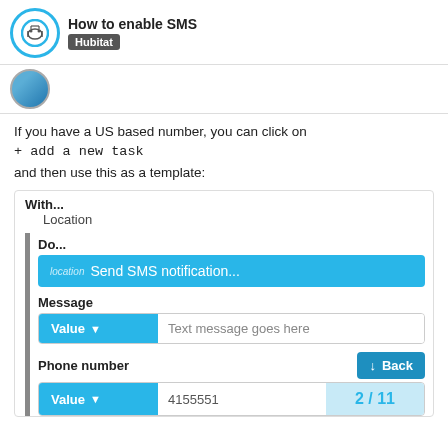How to enable SMS — Hubitat
If you have a US based number, you can click on + add a new task and then use this as a template:
With...
Location
Do...
location Send SMS notification...
Message
Value — Text message goes here
Phone number
Value — 4155551 — 2 / 11